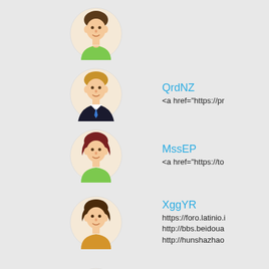(user, green shirt, top cropped)
QrdNZ
<a href="https://pr
MssEP
<a href="https://to
XggYR
https://foro.latinio.i
http://bbs.beidoua
http://hunshazhao
PbxYU
https://coinworldm
ZniCX
<a href="https://pr